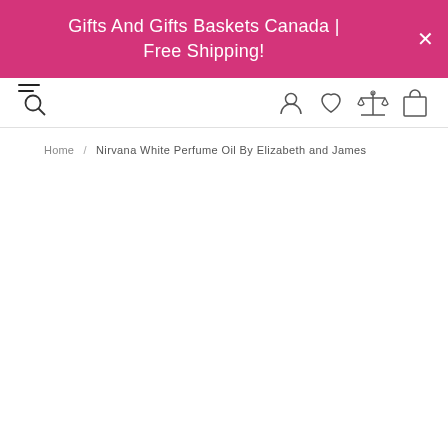Gifts And Gifts Baskets Canada | Free Shipping!
[Figure (screenshot): E-commerce website navigation bar with hamburger/search icon on the left, and user account, wishlist (heart), compare (scales), and shopping bag icons on the right.]
Home / Nirvana White Perfume Oil By Elizabeth and James